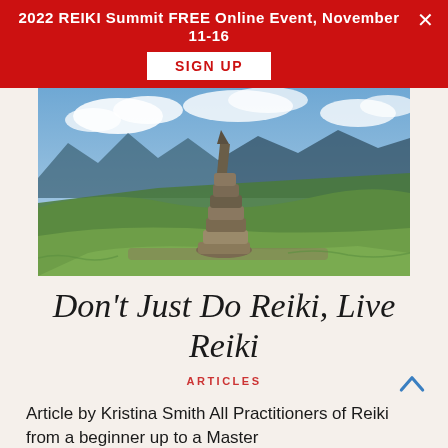2022 REIKI Summit FREE Online Event, November 11-16
SIGN UP
[Figure (photo): A stone cairn (stacked rocks) on a mountain summit with a sweeping view of green valleys, mountains, and blue sky with clouds in the background.]
Don't Just Do Reiki, Live Reiki
ARTICLES
Article by Kristina Smith All Practitioners of Reiki from a beginner up to a Master